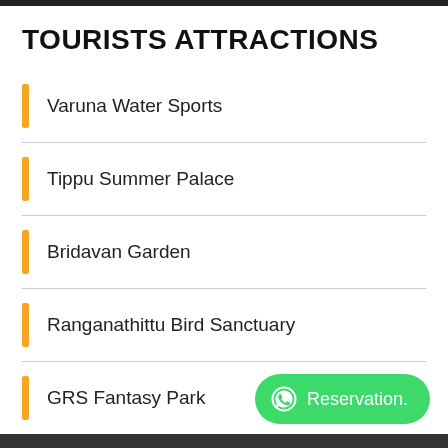TOURISTS ATTRACTIONS
Varuna Water Sports
Tippu Summer Palace
Bridavan Garden
Ranganathittu Bird Sanctuary
GRS Fantasy Park
Reservation.